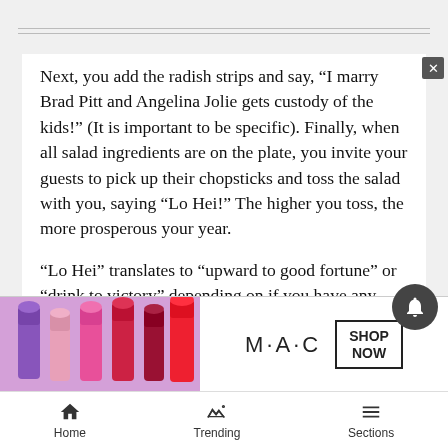Next, you add the radish strips and say, “I marry Brad Pitt and Angelina Jolie gets custody of the kids!” (It is important to be specific). Finally, when all salad ingredients are on the plate, you invite your guests to pick up their chopsticks and toss the salad with you, saying “Lo Hei!” The higher you toss, the more prosperous your year.
“Lo Hei” translates to “upward to good fortune” or “drink to victory” depending on if you have any alcoholic beverages left in the house after the 49ers’ loss in [ad overlay] last we[ek]
[Figure (screenshot): MAC cosmetics advertisement banner showing lipstick products, MAC logo, and SHOP NOW button]
Home   Trending   Sections